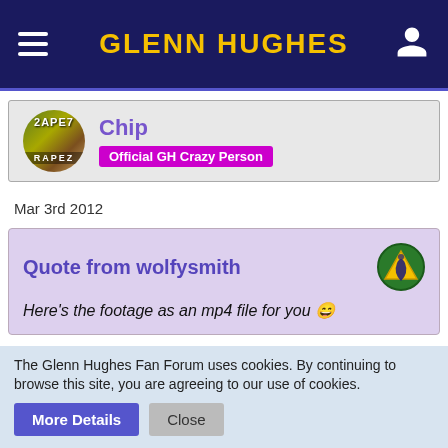GLENN HUGHES
[Figure (illustration): User avatar showing a license plate style image with text 'RAPEZ']
Chip
Official GH Crazy Person
Mar 3rd 2012
Quote from wolfysmith
Here's the footage as an mp4 file for you 😄
Thank you. It was promptly loaded into iTunes/iPod 👍
The Glenn Hughes Fan Forum uses cookies. By continuing to browse this site, you are agreeing to our use of cookies.